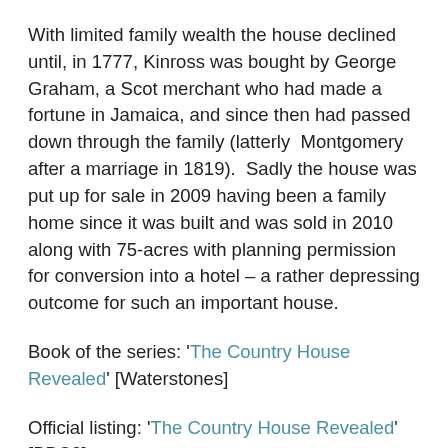With limited family wealth the house declined until, in 1777, Kinross was bought by George Graham, a Scot merchant who had made a fortune in Jamaica, and since then had passed down through the family (latterly  Montgomery after a marriage in 1819).  Sadly the house was put up for sale in 2009 having been a family home since it was built and was sold in 2010 along with 75-acres with planning permission for conversion into a hotel – a rather depressing outcome for such an important house.
Book of the series: 'The Country House Revealed' [Waterstones]
Official listing: 'The Country House Revealed' [BBC2]
Note: having watched the first episode it seems that Dan is